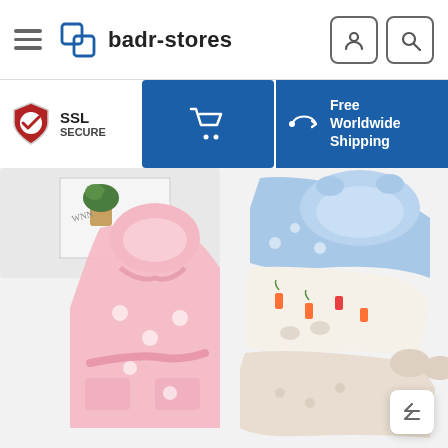badr-stores — navigation header with hamburger menu, logo, user icon, and search icon
[Figure (infographic): Banner bar with SSL Secure badge, blue cart button, and Free Worldwide Shipping section]
[Figure (photo): Product photo showing children's hooded robes/bathrobes in pink with ghost pattern, blue with dog pattern, white with carrot pattern, and light beige, laid flat and folded]